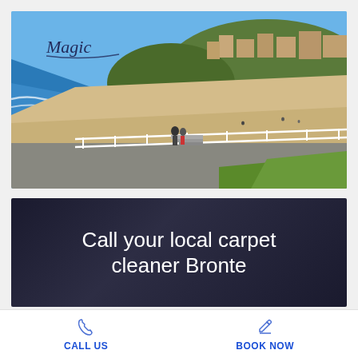[Figure (photo): Aerial/ground-level photo of Bronte Beach, Sydney, Australia. Blue sky, ocean with waves on left, sandy beach in center, coastal path with fence in foreground, people walking, green hill with buildings in background. 'Magic' script logo in top-left corner.]
[Figure (infographic): Dark background banner with white text reading 'Call your local carpet cleaner Bronte']
CALL US
BOOK NOW